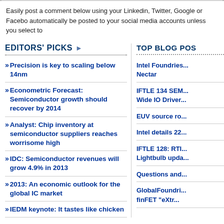Easily post a comment below using your Linkedin, Twitter, Google or Facebook account. Comments will automatically be posted to your social media accounts unless you select to
EDITORS' PICKS
» Precision is key to scaling below 14nm
» Econometric Forecast: Semiconductor growth should recover by 2014
» Analyst: Chip inventory at semiconductor suppliers reaches worrisome high
» IDC: Semiconductor revenues will grow 4.9% in 2013
» 2013: An economic outlook for the global IC market
» IEDM keynote: It tastes like chicken
TOP BLOG POS...
Intel Foundries... Nectar
IFTLE 134 SEM... Wide IO Driver...
EUV source ro...
Intel details 22...
IFTLE 128: RTI... Lightbulb upda...
Questions and...
GlobalFoundri... finFET "eXtr...